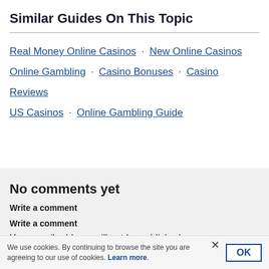Similar Guides On This Topic
Real Money Online Casinos · New Online Casinos Online Gambling · Casino Bonuses · Casino Reviews US Casinos · Online Gambling Guide
No comments yet
Write a comment
Write a comment
Your email address will not be published.
We use cookies. By continuing to browse the site you are agreeing to our use of cookies. Learn more.